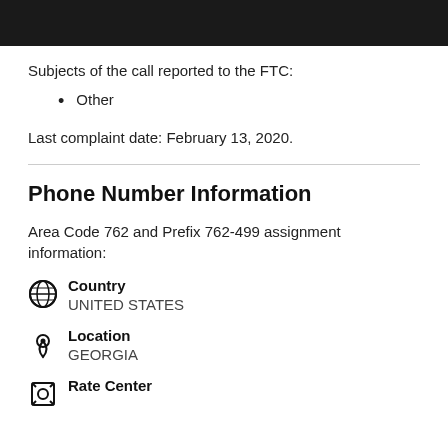[Figure (photo): Dark/black cropped image at top of page]
Subjects of the call reported to the FTC:
Other
Last complaint date: February 13, 2020.
Phone Number Information
Area Code 762 and Prefix 762-499 assignment information:
Country
UNITED STATES
Location
GEORGIA
Rate Center